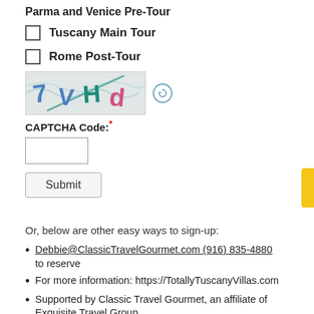Parma and Venice Pre-Tour
Tuscany Main Tour
Rome Post-Tour
[Figure (other): CAPTCHA image showing distorted characters: 7VHd in blue, green, and pink on a light textured background, with a refresh icon circle to the right]
CAPTCHA Code:*
Submit
Or, below are other easy ways to sign-up:
Debbie@ClassicTravelGourmet.com (916) 835-4880 to reserve
For more information: https://TotallyTuscanyVillas.com
Supported by Classic Travel Gourmet, an affiliate of Exquisite Travel Group